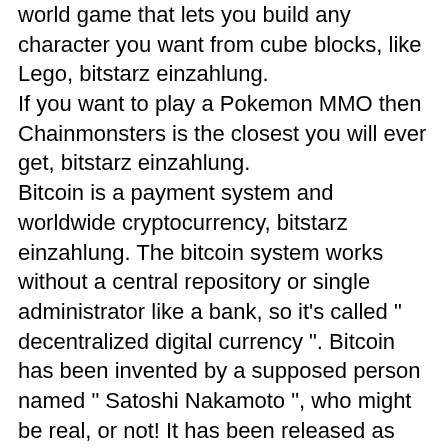world game that lets you build any character you want from cube blocks, like Lego, bitstarz einzahlung. If you want to play a Pokemon MMO then Chainmonsters is the closest you will ever get, bitstarz einzahlung. Bitcoin is a payment system and worldwide cryptocurrency, bitstarz einzahlung. The bitcoin system works without a central repository or single administrator like a bank, so it's called " decentralized digital currency ". Bitcoin has been invented by a supposed person named " Satoshi Nakamoto ", who might be real, or not! It has been released as open-source software in January 3, 2009. The smallest amount of bitcoin is 0.
Bitstarz зеркало казино
Bei ihrer zweiten einzahlung bei bitstarz wird ihrem guthaben sofort eine 50% ige. Zudom müssen alle einzahlungen von